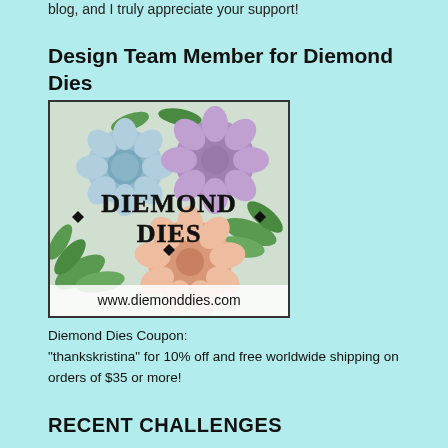blog, and I truly appreciate your support!
Design Team Member for Diemond Dies
[Figure (logo): Diemond Dies logo with paper flowers in blue, purple, and peach colors with green foliage. Text reads DIEMOND DIES and www.diemonddies.com]
Diemond Dies Coupon:
"thankskristina" for 10% off and free worldwide shipping on orders of $35 or more!
RECENT CHALLENGES